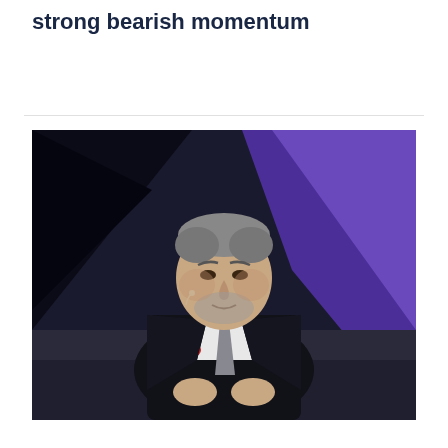strong bearish momentum
[Figure (photo): Man in dark suit with white shirt and gray tie, wearing a small earpiece/microphone, with graying hair and beard, speaking on stage against a dark background with a purple/blue light behind him.]